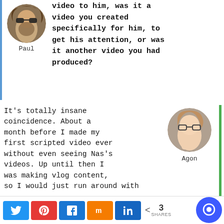[Figure (photo): Circular avatar photo of Paul, a man with long hair and beard wearing sunglasses]
Paul
video to him, was it a video you created specifically for him, to get his attention, or was it another video you had produced?
It's totally insane coincidence. About a month before I made my first scripted video ever without even seeing Nas's videos. Up until then I was making vlog content, so I would just run around with
[Figure (photo): Circular avatar photo of Agon, a young person with glasses resting head on hand]
Agon
Share buttons: Twitter, Pinterest, Facebook, Mix, LinkedIn. 3 SHARES